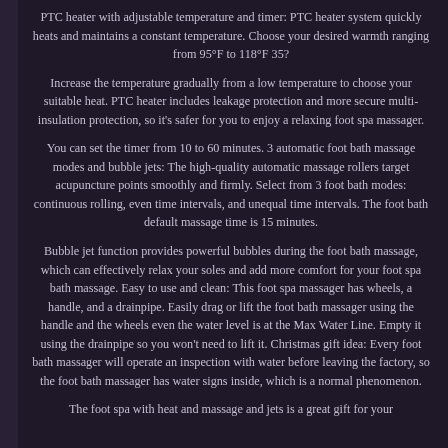PTC heater with adjustable temperature and timer: PTC heater system quickly heats and maintains a constant temperature. Choose your desired warmth ranging from 95°F to 118°F 35?
Increase the temperature gradually from a low temperature to choose your suitable heat. PTC heater includes leakage protection and more secure multi-insulation protection, so it's safer for you to enjoy a relaxing foot spa massager.
You can set the timer from 10 to 60 minutes. 3 automatic foot bath massage modes and bubble jets: The high-quality automatic massage rollers target acupuncture points smoothly and firmly. Select from 3 foot bath modes: continuous rolling, even time intervals, and unequal time intervals. The foot bath default massage time is 15 minutes.
Bubble jet function provides powerful bubbles during the foot bath massage, which can effectively relax your soles and add more comfort for your foot spa bath massage. Easy to use and clean: This foot spa massager has wheels, a handle, and a drainpipe. Easily drag or lift the foot bath massager using the handle and the wheels even the water level is at the Max Water Line. Empty it using the drainpipe so you won't need to lift it. Christmas gift idea: Every foot bath massager will operate an inspection with water before leaving the factory, so the foot bath massager has water signs inside, which is a normal phenomenon.
The foot spa with heat and massage and jets is a great gift for your